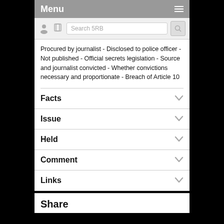Menu
Search 5RB
Procured by journalist - Disclosed to police officer - Not published - Official secrets legislation - Source and journalist convicted - Whether convictions necessary and proportionate - Breach of Article 10
Facts
Issue
Held
Comment
Links
Share